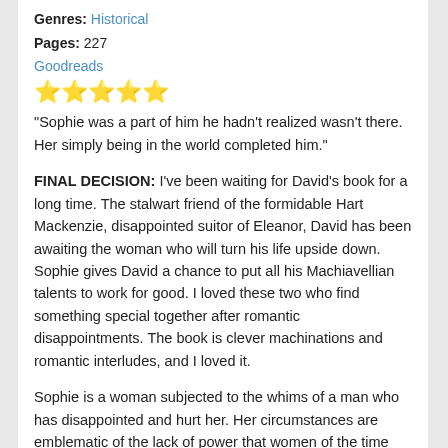Genres: Historical
Pages: 227
Goodreads
[Figure (other): Five gold star rating icons]
“Sophie was a part of him he hadn’t realized wasn’t there. Her simply being in the world completed him.”
FINAL DECISION: I’ve been waiting for David’s book for a long time. The stalwart friend of the formidable Hart Mackenzie, disappointed suitor of Eleanor, David has been awaiting the woman who will turn his life upside down. Sophie gives David a chance to put all his Machiavellian talents to work for good. I loved these two who find something special together after romantic disappointments. The book is clever machinations and romantic interludes, and I loved it.
Sophie is a woman subjected to the whims of a man who has disappointed and hurt her. Her circumstances are emblematic of the lack of power that women of the time could be subjected to. One of the things I really liked is how the women in this book use what power they have to